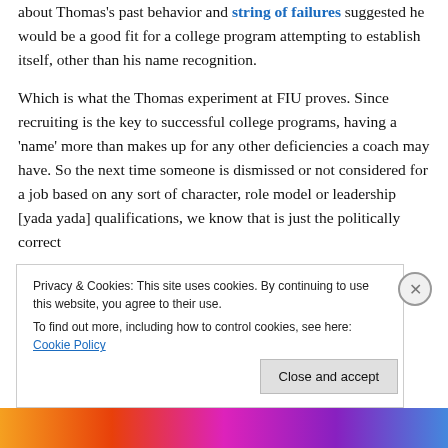about Thomas's past behavior and string of failures suggested he would be a good fit for a college program attempting to establish itself, other than his name recognition.
Which is what the Thomas experiment at FIU proves. Since recruiting is the key to successful college programs, having a 'name' more than makes up for any other deficiencies a coach may have. So the next time someone is dismissed or not considered for a job based on any sort of character, role model or leadership [yada yada] qualifications, we know that is just the politically correct
Privacy & Cookies: This site uses cookies. By continuing to use this website, you agree to their use.
To find out more, including how to control cookies, see here: Cookie Policy
Close and accept